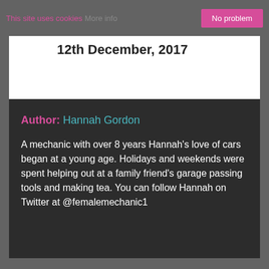This site uses cookies More info No problem
12th December, 2017
Author: Hannah Gordon

A mechanic with over 8 years Hannah's love of cars began at a young age. Holidays and weekends were spent helping out at a family friend's garage passing tools and making tea. You can follow Hannah on Twitter at @femalemechanic1